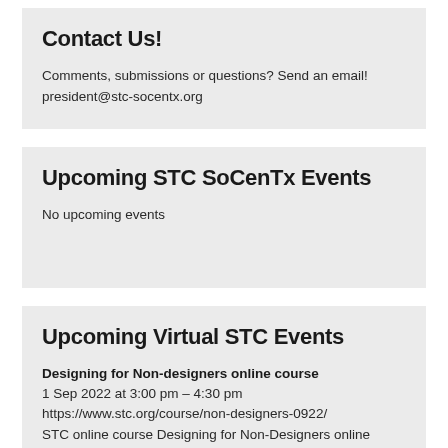Contact Us!
Comments, submissions or questions? Send an email!
president@stc-socentx.org
Upcoming STC SoCenTx Events
No upcoming events
Upcoming Virtual STC Events
Designing for Non-designers online course
1 Sep 2022 at 3:00 pm – 4:30 pm
https://www.stc.org/course/non-designers-0922/
STC online course Designing for Non-Designers online course presented by Danielle Hennis, each Thursday